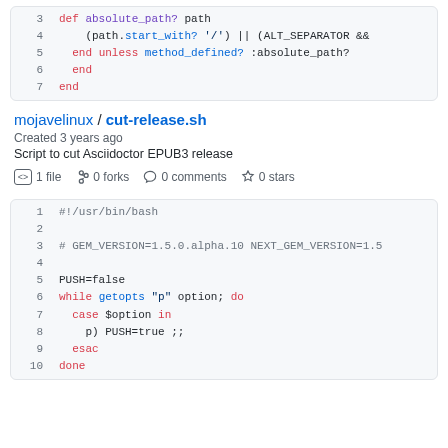[Figure (screenshot): Code block showing Ruby code snippet lines 3-7 with syntax highlighting]
mojavelinux / cut-release.sh
Created 3 years ago
Script to cut Asciidoctor EPUB3 release
1 file  0 forks  0 comments  0 stars
[Figure (screenshot): Code block showing bash script cut-release.sh lines 1-10 with syntax highlighting]